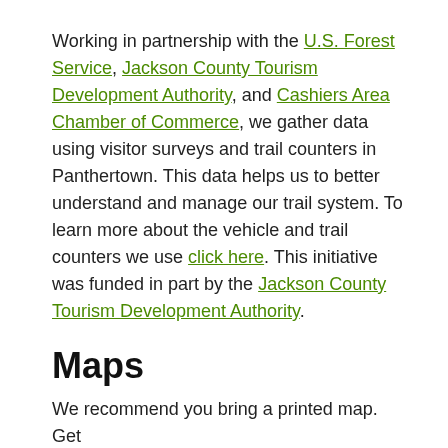Working in partnership with the U.S. Forest Service, Jackson County Tourism Development Authority, and Cashiers Area Chamber of Commerce, we gather data using visitor surveys and trail counters in Panthertown. This data helps us to better understand and manage our trail system. To learn more about the vehicle and trail counters we use click here. This initiative was funded in part by the Jackson County Tourism Development Authority.
Maps
We recommend you bring a printed map. Get [link continues below]